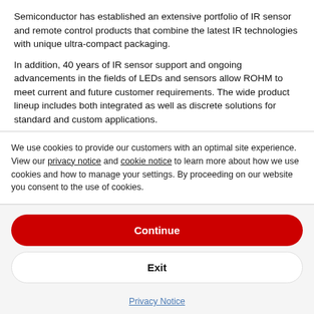Semiconductor has established an extensive portfolio of IR sensor and remote control products that combine the latest IR technologies with unique ultra-compact packaging.
In addition, 40 years of IR sensor support and ongoing advancements in the fields of LEDs and sensors allow ROHM to meet current and future customer requirements. The wide product lineup includes both integrated as well as discrete solutions for standard and custom applications.
[Figure (other): Broken/loading image placeholder icon]
We use cookies to provide our customers with an optimal site experience. View our privacy notice and cookie notice to learn more about how we use cookies and how to manage your settings. By proceeding on our website you consent to the use of cookies.
Continue
Exit
Privacy Notice